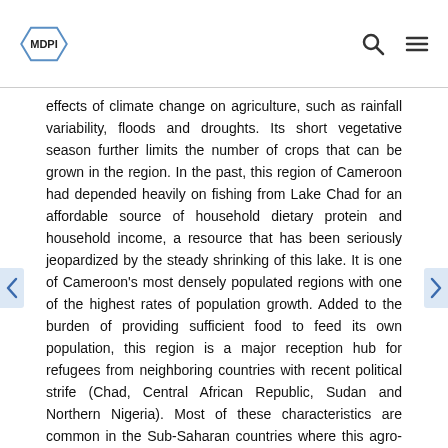MDPI
effects of climate change on agriculture, such as rainfall variability, floods and droughts. Its short vegetative season further limits the number of crops that can be grown in the region. In the past, this region of Cameroon had depended heavily on fishing from Lake Chad for an affordable source of household dietary protein and household income, a resource that has been seriously jeopardized by the steady shrinking of this lake. It is one of Cameroon's most densely populated regions with one of the highest rates of population growth. Added to the burden of providing sufficient food to feed its own population, this region is a major reception hub for refugees from neighboring countries with recent political strife (Chad, Central African Republic, Sudan and Northern Nigeria). Most of these characteristics are common in the Sub-Saharan countries where this agro-ecological zone extends. With regards to food production, it can therefore be argued that this region is at the frontline of present and future climatic constraints to self-sufficiency and future food security.